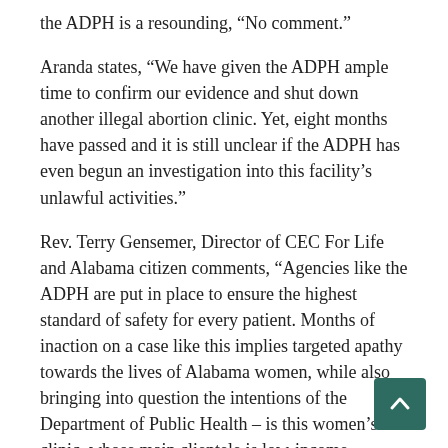the ADPH is a resounding, “No comment.”
Aranda states, “We have given the ADPH ample time to confirm our evidence and shut down another illegal abortion clinic. Yet, eight months have passed and it is still unclear if the ADPH has even begun an investigation into this facility’s unlawful activities.”
Rev. Terry Gensemer, Director of CEC For Life and Alabama citizen comments, “Agencies like the ADPH are put in place to ensure the highest standard of safety for every patient. Months of inaction on a case like this implies targeted apathy towards the lives of Alabama women, while also bringing into question the intentions of the Department of Public Health – is this women’s clinic, whose main clientele is low-income minorities, somehow exempt from state laws and regulations?”
Catherine Davis of the National Black Pro-Life Coalition adds, “Alabama has joined a number of states in turning a blind eye to violations of the law by abortionists. Women – mostly B… and mostly poor – are being subjected to substandard medical